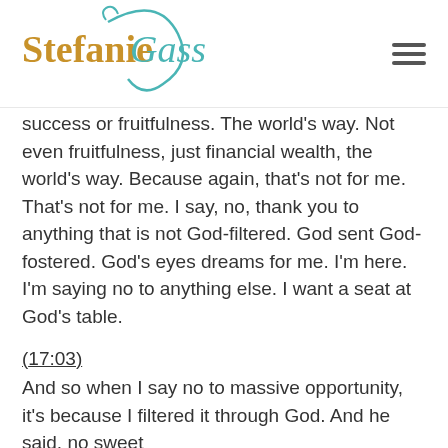Stefanie Gass
success or fruitfulness. The world's way. Not even fruitfulness, just financial wealth, the world's way. Because again, that's not for me. That's not for me. I say, no, thank you to anything that is not God-filtered. God sent God-fostered. God's eyes dreams for me. I'm here. I'm saying no to anything else. I want a seat at God's table.
(17:03)
And so when I say no to massive opportunity, it's because I filtered it through God. And he said, no sweet